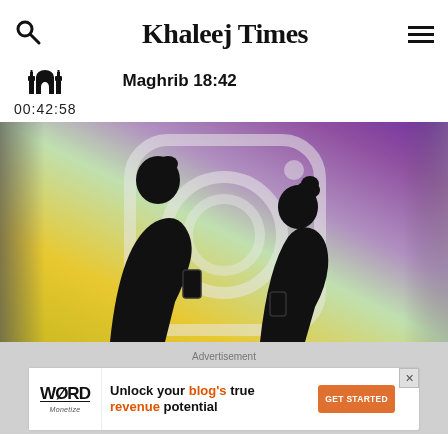Khaleej Times
Maghrib 18:42
00:42:58
[Figure (photo): Two silhouettes of people using smartphones in front of a large illuminated Instagram logo background with purple-yellow gradient]
Advertisement
[Figure (other): Advertisement banner: Word Monetize logo on left, text 'Unlock your blog's true revenue potential' in center, orange GET STARTED button on right]